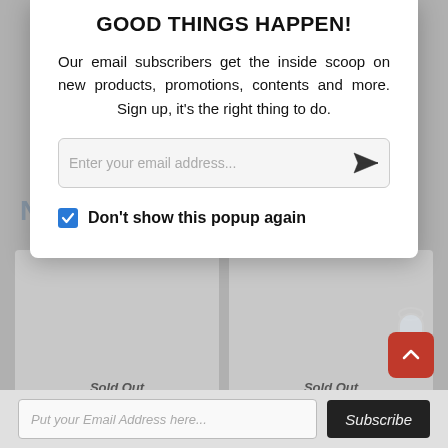GOOD THINGS HAPPEN!
Our email subscribers get the inside scoop on new products, promotions, contents and more. Sign up, it's the right thing to do.
Enter your email address...
Don't show this popup again
Sold Out
Sold Out
Put your Email Address here...
Subscribe